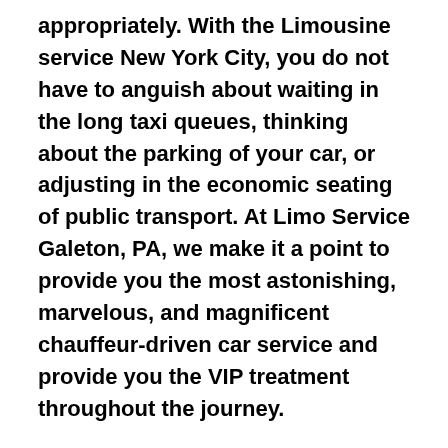appropriately. With the Limousine service New York City, you do not have to anguish about waiting in the long taxi queues, thinking about the parking of your car, or adjusting in the economic seating of public transport. At Limo Service Galeton, PA, we make it a point to provide you the most astonishing, marvelous, and magnificent chauffeur-driven car service and provide you the VIP treatment throughout the journey.
At Limo service Queens; we have the line luxury vehicles at the most affordable and competitive price range. We at Limo Service Manhattan keep customers as our utmost priority. At Limo service Bronx, our talented and skilled ground staffs focus